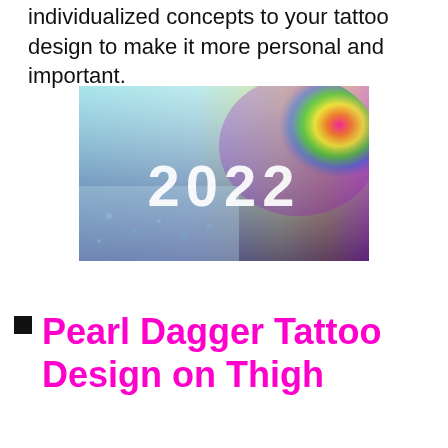individualized concepts to your tattoo design to make it more personal and important.
[Figure (illustration): Colorful banner image with gradient rainbow background and the text '2022' in large white letters]
Pearl Dagger Tattoo Design on Thigh
[Figure (photo): Photograph of a pearl dagger tattoo on a thigh, featuring a teal gemstone blade, decorative metal hilt with scrollwork, pearl accents, and a red gemstone tip, set against a floral fabric background]